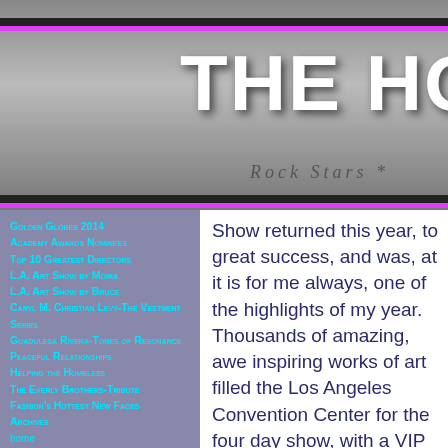THE HOLL
Rock Stars *
Golden Globes 2014
Academy Awards Nominees
Top 10 Greatest Directors
L.A. Art Show by Moira
L.A. Art Show by Bruce
Caryl M. Christian Levy-The Vestment Series
Guadulesa Rivera-Tones of Resonance
Peaceful Relationships
Helping the Homeless
The Everly Brothers-Tribute
Fashion's Hottest New Faces
Archives
home
Share With Friends
Show returned this year, to great success, and was, at it is for me always, one of the highlights of my year. Thousands of amazing, awe inspiring works of art filled the Los Angeles Convention Center for the four day show, with a VIP preview night the day before, with art in all forms brought from around the world by some of the best gallerists of our time. I can not imagine not seeing art on a regular